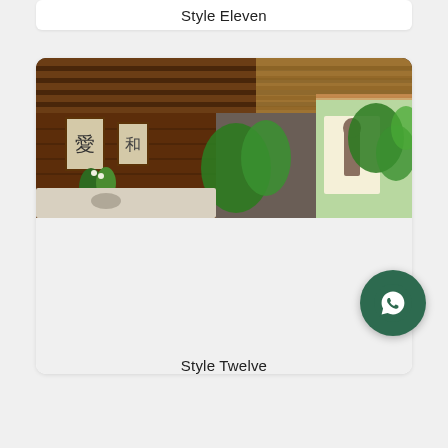Style Eleven
[Figure (photo): Interior of a Balinese-style room with dark wood paneled walls and thatched roof ceiling with exposed beams. Asian calligraphy artworks hang on the wall, tropical plants fill the space, and a stone statue is illuminated in an alcove. A marble sink or counter is visible in the foreground.]
Style Twelve